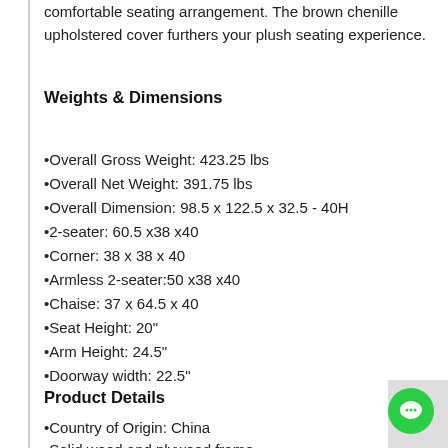comfortable seating arrangement. The brown chenille upholstered cover furthers your plush seating experience.
Weights & Dimensions
•Overall Gross Weight: 423.25 lbs
•Overall Net Weight: 391.75 lbs
•Overall Dimension: 98.5 x 122.5 x 32.5 - 40H
•2-seater: 60.5 x38 x40
•Corner: 38 x 38 x 40
•Armless 2-seater:50 x38 x40
•Chaise: 37 x 64.5 x 40
•Seat Height: 20"
•Arm Height: 24.5"
•Doorway width: 22.5"
Product Details
•Country of Origin: China
•Solid wood and plywood frame